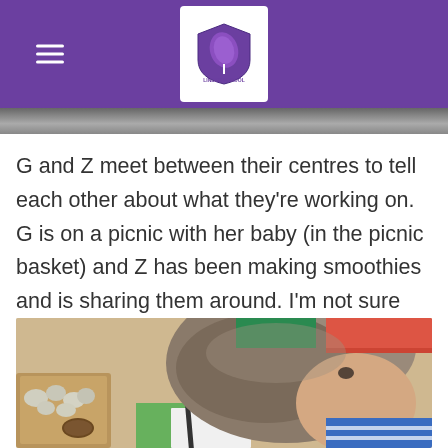Linden School
[Figure (photo): Partial photo strip at top of content area, appears to show an outdoor scene]
G and Z meet between their centres to tell each other about what they're working on. G is on a picnic with her baby (in the picnic basket) and Z has been making smoothies and is sharing them around. I'm not sure about you, but a salt smoothie might not be exactly what I want mid-afternoon.
[Figure (photo): A child leaning over a table writing with a marker, with natural materials (pine cone, rocks) and colourful containers visible in the background]